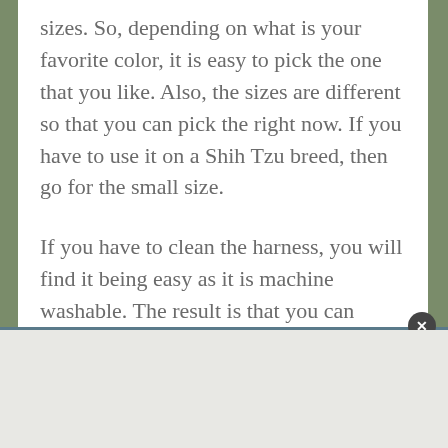sizes. So, depending on what is your favorite color, it is easy to pick the one that you like. Also, the sizes are different so that you can pick the right now. If you have to use it on a Shih Tzu breed, then go for the small size.
If you have to clean the harness, you will find it being easy as it is machine washable. The result is that you can always have a clean harness for the pet.